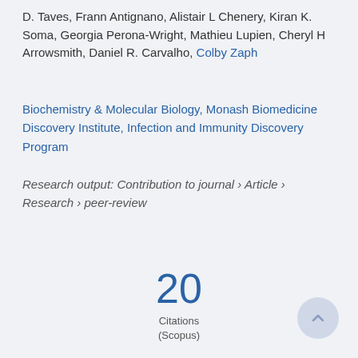D. Taves, Frann Antignano, Alistair L Chenery, Kiran K. Soma, Georgia Perona-Wright, Mathieu Lupien, Cheryl H Arrowsmith, Daniel R. Carvalho, Colby Zaph
Biochemistry & Molecular Biology, Monash Biomedicine Discovery Institute, Infection and Immunity Discovery Program
Research output: Contribution to journal › Article › Research › peer-review
20 Citations (Scopus)